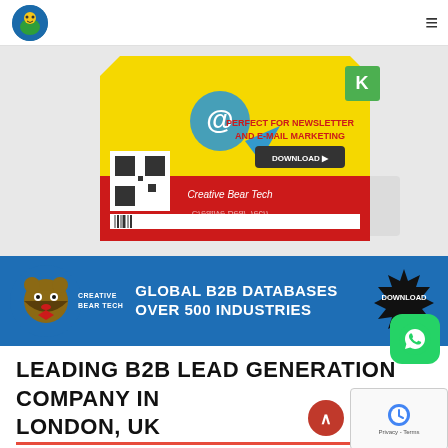Creative Bear Tech logo and navigation menu
[Figure (photo): Product box for Creative Bear Tech email marketing/newsletter software — red and yellow box with QR code, email icon, download button, text 'PERFECT FOR NEWSLETTER AND E-MAIL MARKETING']
[Figure (infographic): Blue banner with Creative Bear Tech bear logo, text 'GLOBAL B2B DATABASES OVER 500 INDUSTRIES' and black starburst DOWNLOAD badge]
LEADING B2B LEAD GENERATION COMPANY IN LONDON, UK